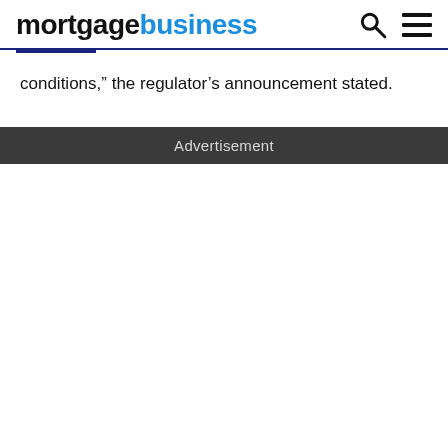mortgagebusiness
conditions,” the regulator’s announcement stated.
Advertisement